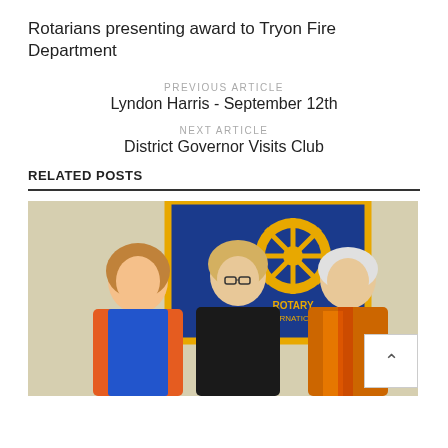Rotarians presenting award to Tryon Fire Department
PREVIOUS ARTICLE
Lyndon Harris - September 12th
NEXT ARTICLE
District Governor Visits Club
RELATED POSTS
[Figure (photo): Three women posing together in front of a blue Rotary International banner. The woman on the left wears an orange cardigan over a blue dress, the middle woman wears a black blazer and glasses, and the woman on the right wears a patterned colorful top.]